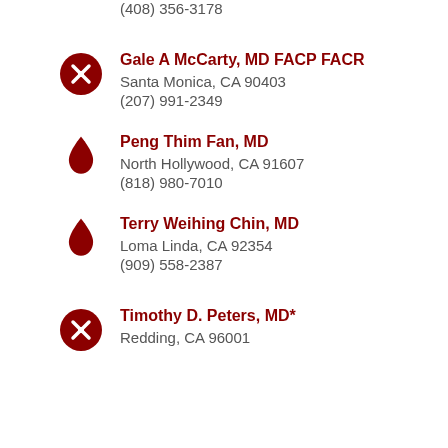(408) 356-3178
Gale A McCarty, MD FACP FACR
Santa Monica, CA 90403
(207) 991-2349
Peng Thim Fan, MD
North Hollywood, CA 91607
(818) 980-7010
Terry Weihing Chin, MD
Loma Linda, CA 92354
(909) 558-2387
Timothy D. Peters, MD*
Redding, CA 96001